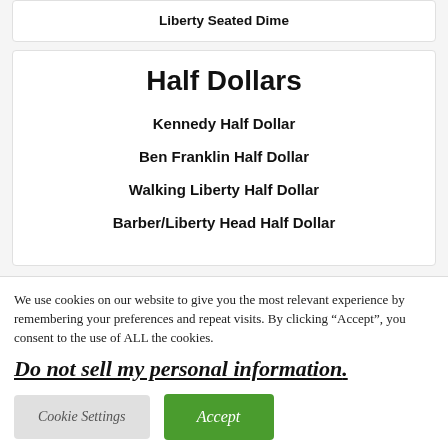Liberty Seated Dime
Half Dollars
Kennedy Half Dollar
Ben Franklin Half Dollar
Walking Liberty Half Dollar
Barber/Liberty Head Half Dollar
We use cookies on our website to give you the most relevant experience by remembering your preferences and repeat visits. By clicking “Accept”, you consent to the use of ALL the cookies.
Do not sell my personal information.
Cookie Settings
Accept